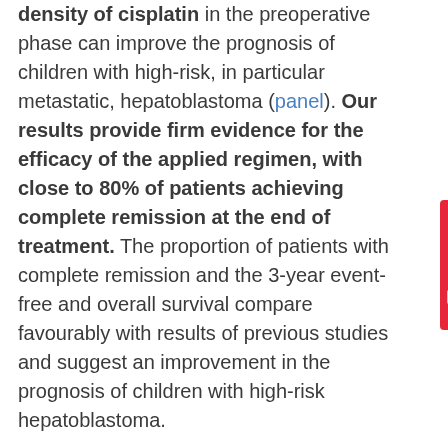density of cisplatin in the preoperative phase can improve the prognosis of children with high-risk, in particular metastatic, hepatoblastoma (panel). Our results provide firm evidence for the efficacy of the applied regimen, with close to 80% of patients achieving complete remission at the end of treatment. The proportion of patients with complete remission and the 3-year event-free and overall survival compare favourably with results of previous studies and suggest an improvement in the prognosis of children with high-risk hepatoblastoma.